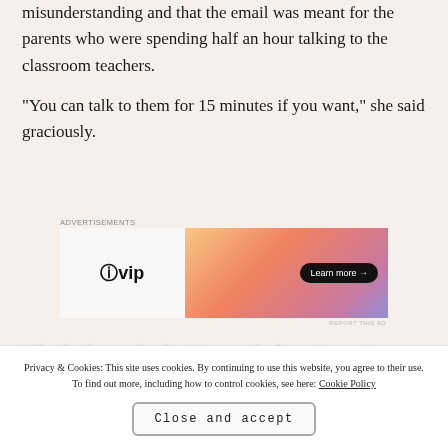misunderstanding and that the email was meant for the parents who were spending half an hour talking to the classroom teachers.
“You can talk to them for 15 minutes if you want,” she said graciously.
[Figure (other): WordPress VIP advertisement banner with gradient orange-pink-purple background and 'Learn more →' button]
“Thanks, but no thanks. I just need a few minutes.”
Privacy & Cookies: This site uses cookies. By continuing to use this website, you agree to their use. To find out more, including how to control cookies, see here: Cookie Policy
Close and accept